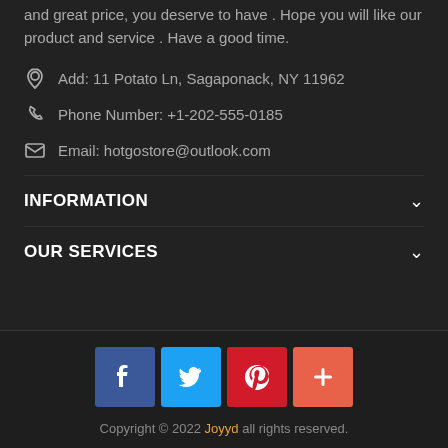and great price, you deserve to have . Hope you will like our product and service . Have a good time.
Add: 11 Potato Ln, Sagaponack, NY 11962
Phone Number: +1-202-555-0185
Email: hotgostore@outlook.com
INFORMATION
OUR SERVICES
[Figure (illustration): Social media icon buttons: Facebook (blue), Twitter (light blue), Pinterest (red), Plus/add (orange-red)]
Copyright © 2022 Joyyd all rights reserved.